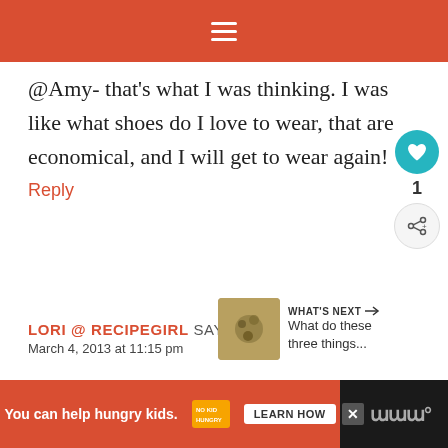≡
@Amy- that's what I was thinking. I was like what shoes do I love to wear, that are economical, and I will get to wear again!
Reply
LORI @ RECIPEGIRL SAYS
March 4, 2013 at 11:15 pm
[Figure (other): What's Next promotional widget with thumbnail image and text 'What do these three things...']
[Figure (other): Advertisement bar: You can help hungry kids. No Kid Hungry. LEARN HOW button.]